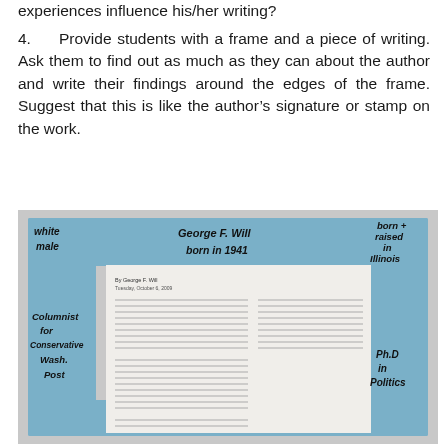experiences influence his/her writing?
4.    Provide students with a frame and a piece of writing. Ask them to find out as much as they can about the author and write their findings around the edges of the frame. Suggest that this is like the author’s signature or stamp on the work.
[Figure (photo): A photograph of a framed piece of writing with sticky notes/paper pieces on the border containing handwritten notes about George F. Will: 'white male', 'born in 1941', 'born + raised in Illinois', 'Columnist for Conservative Wash. Post', 'Ph.D in Politics'. The center shows a printed newspaper article by George F. Will dated Tuesday, October 6, 2009.]